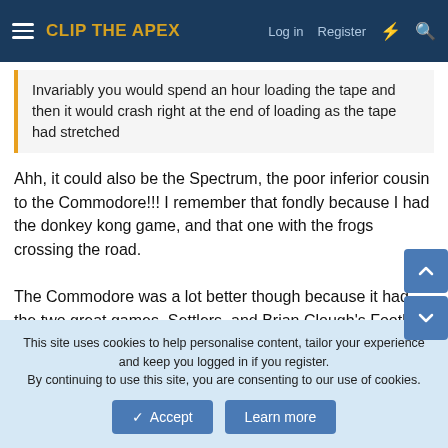CLIP THE APEX — Log in  Register
Invariably you would spend an hour loading the tape and then it would crash right at the end of loading as the tape had stretched
Ahh, it could also be the Spectrum, the poor inferior cousin to the Commodore!!! I remember that fondly because I had the donkey kong game, and that one with the frogs crossing the road.

The Commodore was a lot better though because it had the two great games. Settlers, and Brian Clough's Football Fortunes 😁
Reply
F1Yorkshire
This site uses cookies to help personalise content, tailor your experience and keep you logged in if you register.
By continuing to use this site, you are consenting to our use of cookies.